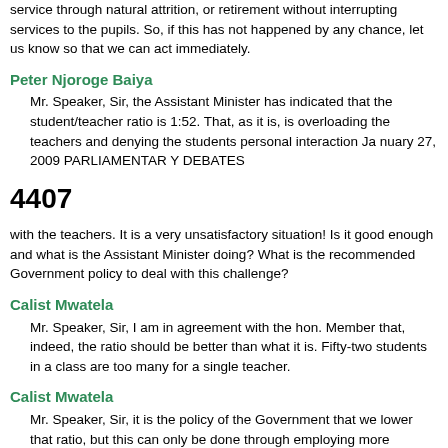service through natural attrition, or retirement without interrupting services to the pupils. So, if this has not happened by any chance, let us know so that we can act immediately.
Peter Njoroge Baiya
Mr. Speaker, Sir, the Assistant Minister has indicated that the student/teacher ratio is 1:52. That, as it is, is overloading the teachers and denying the students personal interaction Ja nuary 27, 2009 PARLIAMENTAR Y DEBATES
4407
with the teachers. It is a very unsatisfactory situation! Is it good enough and what is the Assistant Minister doing? What is the recommended Government policy to deal with this challenge?
Calist Mwatela
Mr. Speaker, Sir, I am in agreement with the hon. Member that, indeed, the ratio should be better than what it is. Fifty-two students in a class are too many for a single teacher.
Calist Mwatela
Mr. Speaker, Sir, it is the policy of the Government that we lower that ratio, but this can only be done through employing more teachers, which means that this House should allocate the